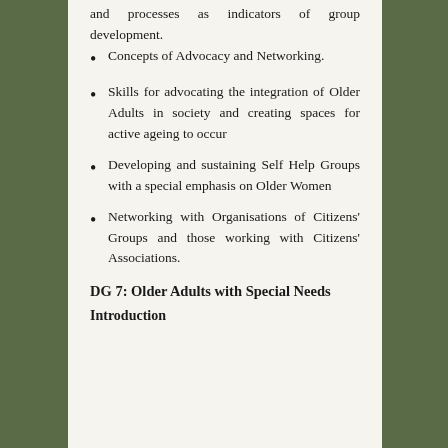and processes as indicators of group development.
Concepts of Advocacy and Networking.
Skills for advocating the integration of Older Adults in society and creating spaces for active ageing to occur
Developing and sustaining Self Help Groups with a special emphasis on Older Women
Networking with Organisations of Citizens' Groups and those working with Citizens' Associations.
DG 7: Older Adults with Special Needs
Introduction